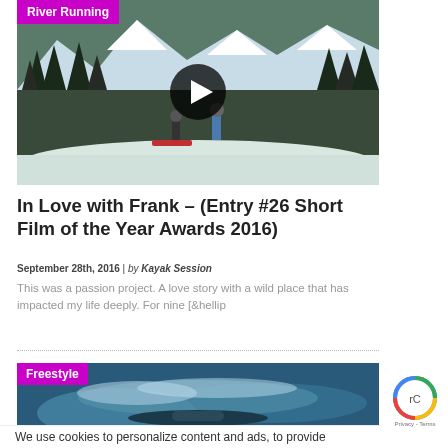[Figure (photo): Snowy mountain landscape with hikers carrying kayaks and gear through snow-covered forest, mountains in background, with River Running category badge and video play button overlay]
In Love with Frank – (Entry #26 Short Film of the Year Awards 2016)
September 28th, 2016 | by Kayak Session
This was a passion project. A love story with a wild place that has impacted my life deeply. For nine [&hellip
[Figure (photo): Freestyle kayaking action photo with Freestyle category badge overlay]
We use cookies to personalize content and ads, to provide